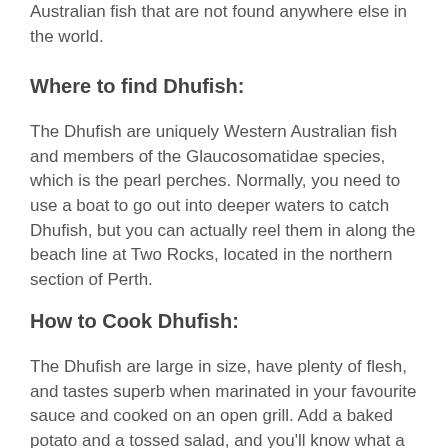Australian fish that are not found anywhere else in the world.
Where to find Dhufish:
The Dhufish are uniquely Western Australian fish and members of the Glaucosomatidae species, which is the pearl perches. Normally, you need to use a boat to go out into deeper waters to catch Dhufish, but you can actually reel them in along the beach line at Two Rocks, located in the northern section of Perth.
How to Cook Dhufish:
The Dhufish are large in size, have plenty of flesh, and tastes superb when marinated in your favourite sauce and cooked on an open grill. Add a baked potato and a tossed salad, and you'll know what a true delight it is to dine on a genuine Western